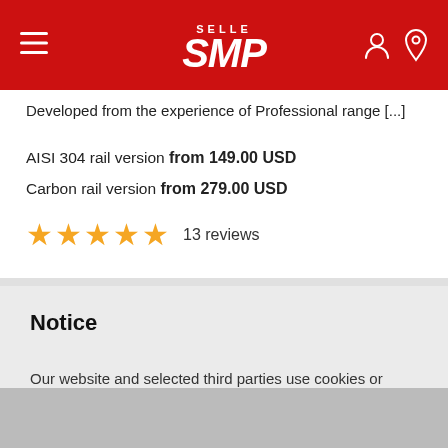SELLE SMP
Developed from the experience of Professional range [...]
AISI 304 rail version from 149.00 USD
Carbon rail version from 279.00 USD
★★★★★ 13 reviews
Notice
Our website and selected third parties use cookies or similar technologies for technical purposes and, with your consent, also for other purposes as specified in the cookie policy.